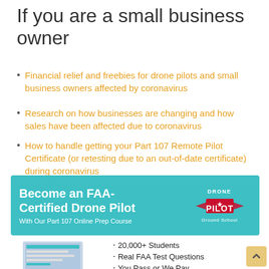If you are a small business owner
Financial relief and freebies for drone pilots and small business owners affected by coronavirus
Research on how businesses are changing and how sales have been affected due to coronavirus
How to handle getting your Part 107 Remote Pilot Certificate (or retesting due to an out-of-date certificate) during coronavirus
[Figure (infographic): Teal banner advertisement for Drone Pilot Ground School: 'Become an FAA-Certified Drone Pilot With Our Part 107 Online Prep Course' with Drone Pilot logo]
[Figure (illustration): Laptop computer illustration on left; bullet points: 20,000+ Students, Real FAA Test Questions, You Pass or We Pay; red ENROLL TODAY button]